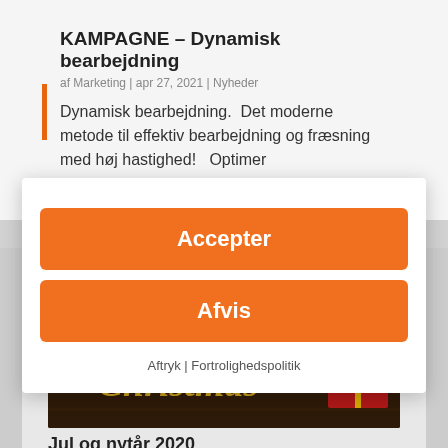KAMPAGNE – Dynamisk bearbejdning
af Marketing | apr 27, 2021 | Nyheder
Dynamisk bearbejdning.  Det moderne metode til effektiv bearbejdning og fræsning med høj hastighed!   Optimer
[Figure (screenshot): Cookie consent modal dialog with two orange buttons: 'Accepter' and 'Afvis', and footer links 'Aftryk | Fortrolighedspolitik']
[Figure (photo): Christmas themed image with decorative gold 'Christmas' text on dark wood background with red gift boxes]
Jul og nytår 2020
af Marketing | dec 8, 2020 | Nyheder